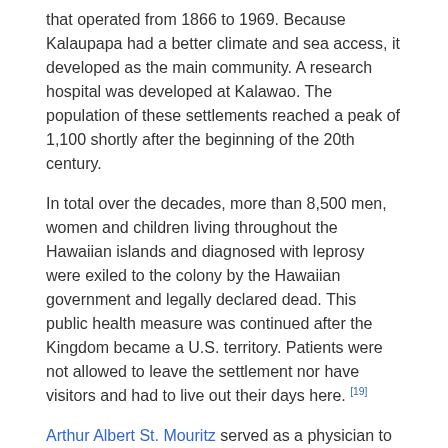that operated from 1866 to 1969. Because Kalaupapa had a better climate and sea access, it developed as the main community. A research hospital was developed at Kalawao. The population of these settlements reached a peak of 1,100 shortly after the beginning of the 20th century.
In total over the decades, more than 8,500 men, women and children living throughout the Hawaiian islands and diagnosed with leprosy were exiled to the colony by the Hawaiian government and legally declared dead. This public health measure was continued after the Kingdom became a U.S. territory. Patients were not allowed to leave the settlement nor have visitors and had to live out their days here. [19]
Arthur Albert St. Mouritz served as a physician to the leper settlement from 1884 to 1887.[20][21][22] He explained how leprosy was spread.[23]
[Figure (photo): A historical photograph or illustration of a mountainous coastal landscape, likely depicting the Kalaupapa/Molokai peninsula area, shown in sepia/aged tones within a bordered frame on a tan background.]